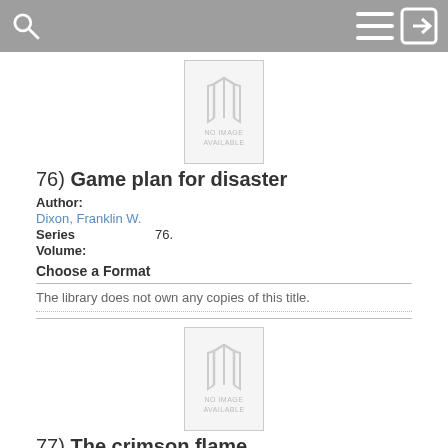Search / Menu / Login
[Figure (illustration): No image available placeholder for book 76]
76) Game plan for disaster
Author:
Dixon, Franklin W.
Series   76.
Volume:
Choose a Format
The library does not own any copies of this title.
[Figure (illustration): No image available placeholder for book 77]
77) The crimson flame
Author:
Dixon, Franklin W.
Series   77.